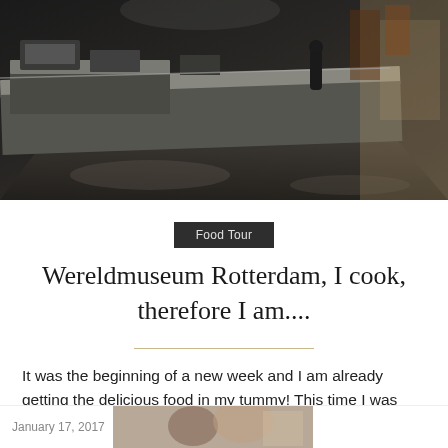[Figure (photo): Dark interior photo of a professional kitchen with stainless steel counters and equipment, dimly lit]
Food Tour
Wereldmuseum Rotterdam, I cook, therefore I am....
It was the beginning of a new week and I am already getting the delicious food in my tummy! This time I was invited to the beautiful Wereldmuseum in Rotterdam. Never been there before. So I am pretty excited! The Wereldmuseum presents the exhibition I cook, therefore I am. A culinary tale by
Read More »
January 17, 2017